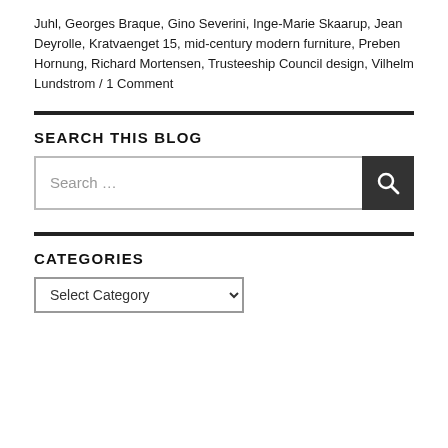Juhl, Georges Braque, Gino Severini, Inge-Marie Skaarup, Jean Deyrolle, Kratvaenget 15, mid-century modern furniture, Preben Hornung, Richard Mortensen, Trusteeship Council design, Vilhelm Lundstrom / 1 Comment
SEARCH THIS BLOG
[Figure (other): Search input box with placeholder 'Search ...' and a dark search button with magnifying glass icon]
CATEGORIES
[Figure (other): Dropdown select box labeled 'Select Category']